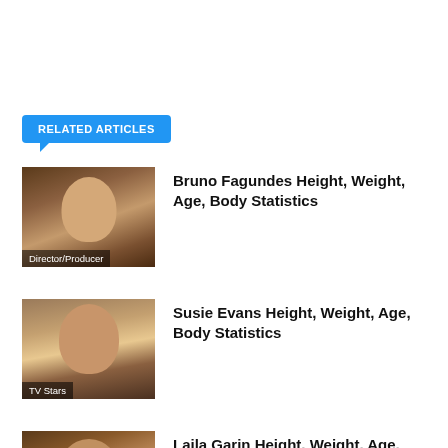RELATED ARTICLES
Bruno Fagundes Height, Weight, Age, Body Statistics
Susie Evans Height, Weight, Age, Body Statistics
Laila Garin Height, Weight, Age, Body Statistics